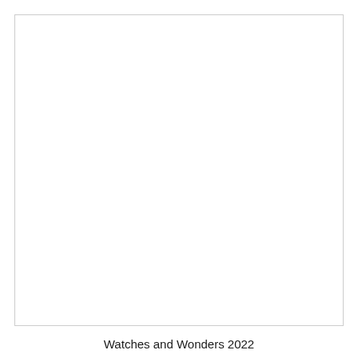[Figure (photo): A blank white image placeholder with a light gray border, representing a photo placeholder for Watches and Wonders 2022.]
Watches and Wonders 2022